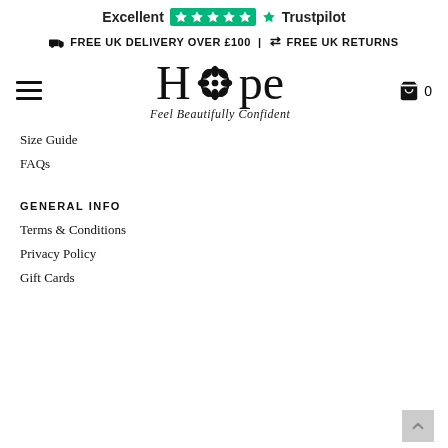[Figure (logo): Trustpilot Excellent rating with 5 green stars and Trustpilot logo]
🚚 FREE UK DELIVERY OVER £100 | ⇄ FREE UK RETURNS
[Figure (logo): Hope fashion brand logo with flower replacing the O, tagline: Feel Beautifully Confident]
Size Guide
FAQs
GENERAL INFO
Terms & Conditions
Privacy Policy
Gift Cards